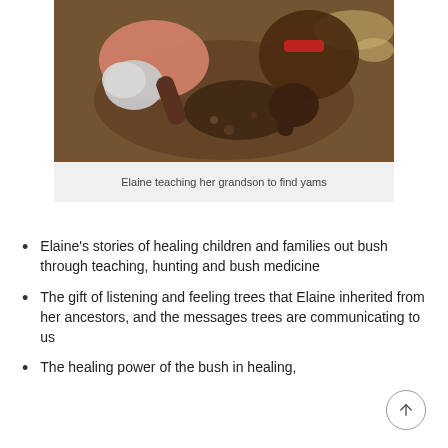[Figure (photo): Two people bent over digging in the ground, viewed from above. One person has grey/white hair wearing a pink top, the other is younger. They appear to be digging for yams in dirt/soil.]
Elaine teaching her grandson to find yams
Elaine's stories of healing children and families out bush through teaching, hunting and bush medicine
The gift of listening and feeling trees that Elaine inherited from her ancestors, and the messages trees are communicating to us
The healing power of the bush in healing,